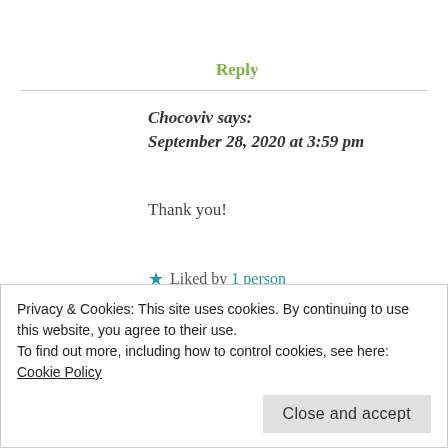Reply
Chocoviv says:
September 28, 2020 at 3:59 pm
Thank you!
★ Liked by 1 person
Reply
Privacy & Cookies: This site uses cookies. By continuing to use this website, you agree to their use.
To find out more, including how to control cookies, see here: Cookie Policy
Close and accept